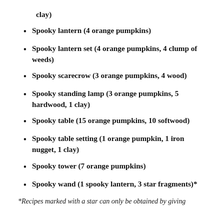clay)
Spooky lantern (4 orange pumpkins)
Spooky lantern set (4 orange pumpkins, 4 clump of weeds)
Spooky scarecrow (3 orange pumpkins, 4 wood)
Spooky standing lamp (3 orange pumpkins, 5 hardwood, 1 clay)
Spooky table (15 orange pumpkins, 10 softwood)
Spooky table setting (1 orange pumpkin, 1 iron nugget, 1 clay)
Spooky tower (7 orange pumpkins)
Spooky wand (1 spooky lantern, 3 star fragments)*
*Recipes marked with a star can only be obtained by giving